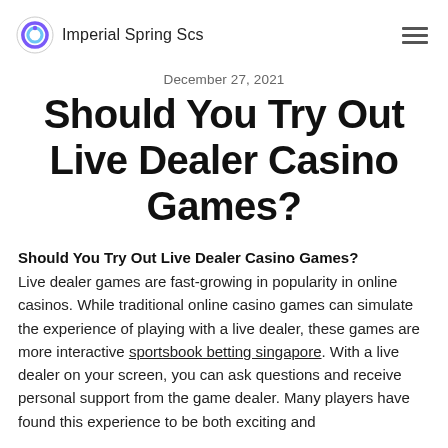Imperial Spring Scs
December 27, 2021
Should You Try Out Live Dealer Casino Games?
Should You Try Out Live Dealer Casino Games?
Live dealer games are fast-growing in popularity in online casinos. While traditional online casino games can simulate the experience of playing with a live dealer, these games are more interactive sportsbook betting singapore. With a live dealer on your screen, you can ask questions and receive personal support from the game dealer. Many players have found this experience to be both exciting and